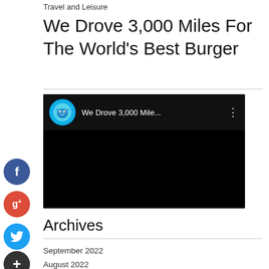Travel and Leisure
We Drove 3,000 Miles For The World's Best Burger
[Figure (screenshot): Embedded video thumbnail with channel icon showing 'We Drove 3,000 Mile...' title on dark background]
Archives
September 2022
August 2022
July 2022